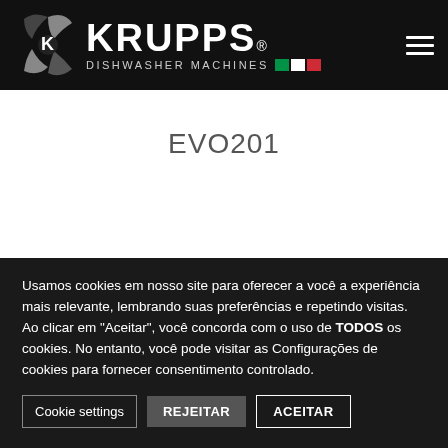KRUPPS® DISHWASHER MACHINES
EVO201
Usamos cookies em nosso site para oferecer a você a experiência mais relevante, lembrando suas preferências e repetindo visitas. Ao clicar em "Aceitar", você concorda com o uso de TODOS os cookies. No entanto, você pode visitar as Configurações de cookies para fornecer consentimento controlado.
Cookie settings  REJEITAR  ACEITAR